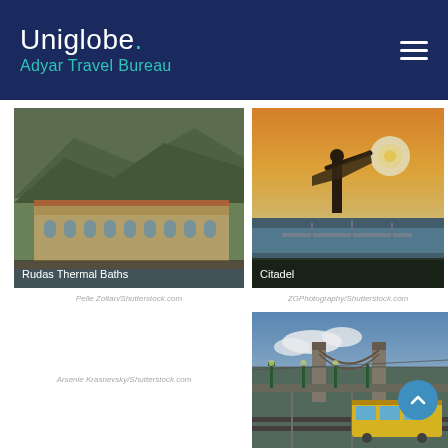Uniglobe. Adyar Travel Bureau
[Figure (photo): Rudas Thermal Baths building beside the Danube river with rocky cliffs behind, Budapest]
Rudas Thermal Baths
Pelle Zoltan/Shutterstock.com
[Figure (photo): Citadel statue with arms raised against sunset sky and Budapest city view with river and bridge]
Citadel
ZGPhotography/Shutterstock.com
Arsenie Krasnevsky/Shutterstock.com
[Figure (photo): Chain bridge with yellow tram on railway tracks in foreground, Budapest, green lamp posts and overhead wires]